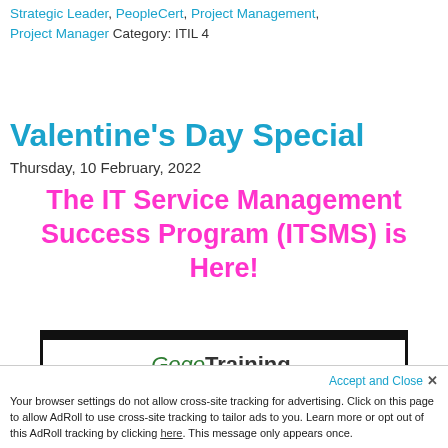Strategic Leader, PeopleCert, Project Management, Project Manager Category: ITIL 4
Valentine's Day Special
Thursday, 10 February, 2022
The IT Service Management Success Program (ITSMS) is Here!
[Figure (logo): GogoTraining logo with black border top bar and italic green Gogo followed by bold Training text with a period]
[Figure (other): Watermarked VALENTINES text background in red-pink faded letters]
Accept and Close ×
Your browser settings do not allow cross-site tracking for advertising. Click on this page to allow AdRoll to use cross-site tracking to tailor ads to you. Learn more or opt out of this AdRoll tracking by clicking here. This message only appears once.